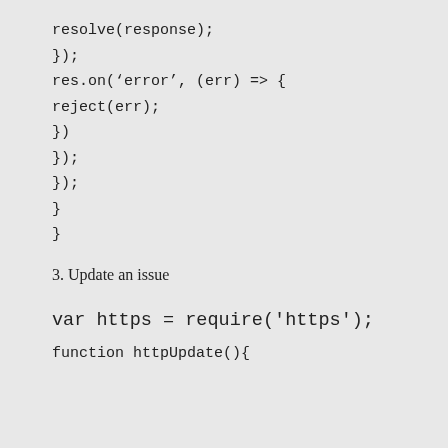resolve(response);
});
res.on('error', (err) => {
reject(err);
})
});
});
}
}
3. Update an issue
var https = require('https');
function httpUpdate(){